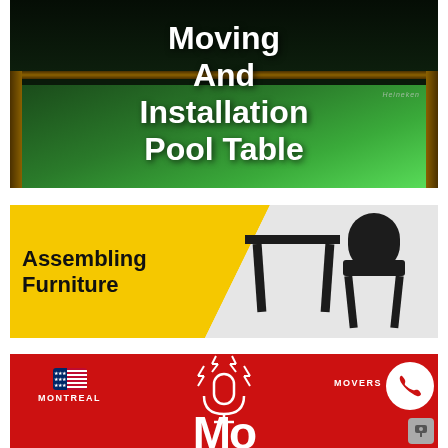[Figure (photo): Dark background with glowing green pool/snooker table, text overlay reading 'Moving And Installation Pool Table' in bold white font. Heineken logo visible in background.]
[Figure (photo): Yellow diagonal banner on left side with black text 'Assembling Furniture', right side shows photo of black modern chair and table on white background.]
[Figure (photo): Red banner showing 'MONTREAL' with US flag icon on left, microphone graphic with lightning bolts in center, 'MOVERS' text and phone icon circle on right, partial large 'Mo' text at bottom.]